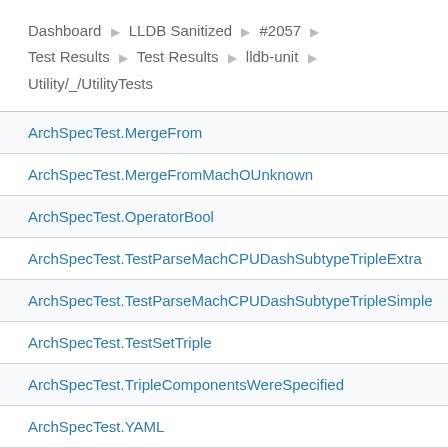Dashboard ▶ LLDB Sanitized ▶ #2057 ▶ Test Results ▶ Test Results ▶ lldb-unit ▶ Utility/_/UtilityTests
ArchSpecTest.MergeFrom
ArchSpecTest.MergeFromMachOUnknown
ArchSpecTest.OperatorBool
ArchSpecTest.TestParseMachCPUDashSubtypeTripleExtra
ArchSpecTest.TestParseMachCPUDashSubtypeTripleSimple
ArchSpecTest.TestSetTriple
ArchSpecTest.TripleComponentsWereSpecified
ArchSpecTest.YAML
ArgsTest.AppendArguments